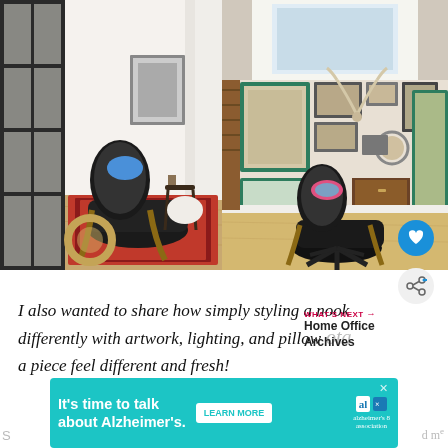[Figure (photo): Left photo: Modern living room nook with black Eames lounge chair and ottoman on a red patterned rug, black French doors on the left, framed artwork on white wall, hardwood floors]
[Figure (photo): Right photo: Another Eames lounge chair and ottoman in a bright nook under a skylight, gallery wall with framed artwork and antique pieces, green window trim, wooden staircase railing, light hardwood floors]
I also wanted to share how simply styling a nook differently with artwork, lighting, and pillow a piece feel different and fresh!
WHAT'S NEXT → Home Office Archives
[Figure (infographic): Advertisement: It's time to talk about Alzheimer's. LEARN MORE. Alzheimer's Association logo.]